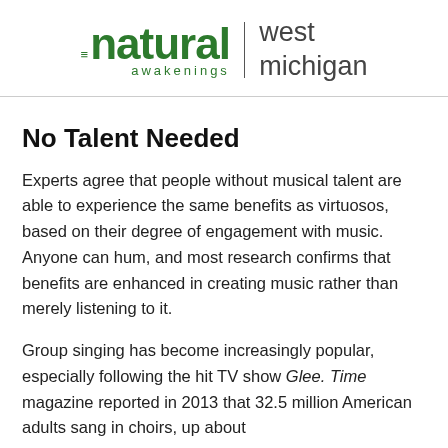natural awakenings | west michigan
No Talent Needed
Experts agree that people without musical talent are able to experience the same benefits as virtuosos, based on their degree of engagement with music. Anyone can hum, and most research confirms that benefits are enhanced in creating music rather than merely listening to it.
Group singing has become increasingly popular, especially following the hit TV show Glee. Time magazine reported in 2013 that 32.5 million American adults sang in choirs, up about